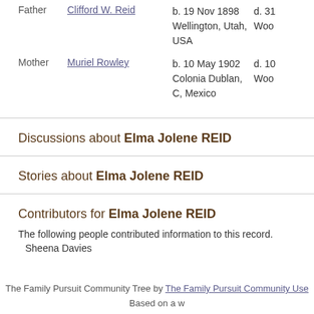Father   Clifford W. Reid   b. 19 Nov 1898 Wellington, Utah, USA   d. 31 Wood
Mother   Muriel Rowley   b. 10 May 1902 Colonia Dublan, C, Mexico   d. 10 Wood
Discussions about Elma Jolene REID
Stories about Elma Jolene REID
Contributors for Elma Jolene REID
The following people contributed information to this record.
Sheena Davies
The Family Pursuit Community Tree by The Family Pursuit Community Use
Based on a w